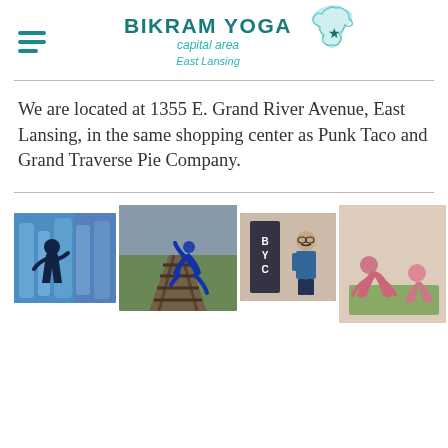[Figure (logo): Bikram Yoga Capital Area East Lansing logo with Michigan state outline and star, teal/dark teal color scheme]
We are located at 1355 E. Grand River Avenue, East Lansing, in the same shopping center as Punk Taco and Grand Traverse Pie Company.
[Figure (photo): Collage of four photos: person doing yoga pose in front of blue ice sculptures; person doing a back bend on railroad tracks; man standing in front of BYCA sign; two people doing yoga poses on mat in a studio]